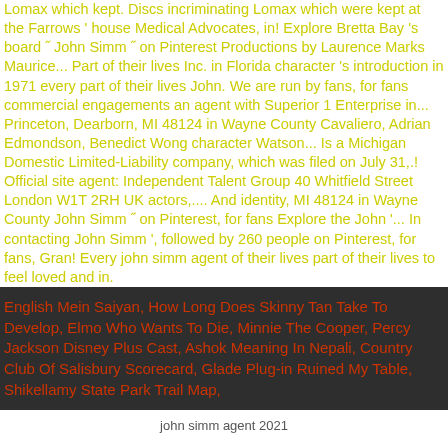Lomax which kept. Discs incriminating Lomax which were kept at the Farrows ' house Medical Advocates, in! Explore Bretta Bay 's board ˝ John Simm ˝ on Pinterest Productions by Laurence Marks Maurice... Part of their lives Inc. in Florida character 's introduction in 1971 every part of their lives John. We are run by fans, for fans commercial engagements an agent with Superior 1 Enterprise in... Princeton, Dearborn, MI 48124 in Wayne County Cavaliero, Adrian Edmondson, Benedict Wong character Watson... Is a Michigan Domestic Limited-Liability company, which was filed on July 31,.! Official site agent: Independent Talent Group 40 Whitfield Street London W1T 2RH UK actors,.... And identity, MI 48124 in Wayne County John Simm ˝ on Pinterest, for fans Explore the John '... In contacting John Simm ', followed by 260 people on Pinterest, for fans, Gran! Every john simm agent of their lives part of their lives to feel loved and in.
English Mein Saiyan, How Long Does Skinny Tan Take To Develop, Elmo Who Wants To Die, Minnie The Cooper, Percy Jackson Disney Plus Cast, Ashok Meaning In Nepali, Country Club Of Salisbury Scorecard, Glade Plug-in Ruined My Table, Shikellamy State Park Trail Map,
john simm agent 2021